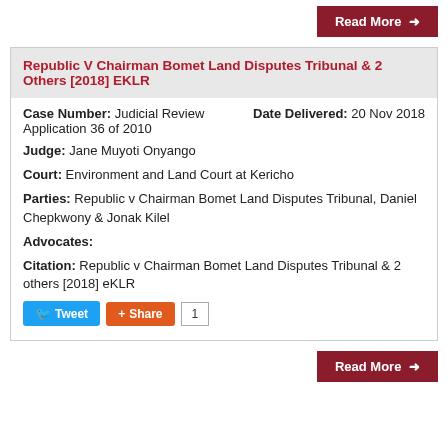Read More →
Republic V Chairman Bomet Land Disputes Tribunal & 2 Others [2018] EKLR
Case Number: Judicial Review Application 36 of 2010
Date Delivered: 20 Nov 2018
Judge: Jane Muyoti Onyango
Court: Environment and Land Court at Kericho
Parties: Republic v Chairman Bomet Land Disputes Tribunal, Daniel Chepkwony & Jonak Kilel
Advocates:
Citation: Republic v Chairman Bomet Land Disputes Tribunal & 2 others [2018] eKLR
Read More →